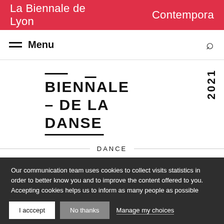La Biennale de Lyon    Contempora
Menu
[Figure (logo): Biennale de la Danse 2021 logo with decorative lines above and below, year 2021 in vertical text on the right]
DANCE
Our communication team uses cookies to collect visits statistics in order to better know you and to improve the content offered to you. Accepting cookies helps us to inform as many people as possible about the events of the Lyon Biennale.
I acccept
No thanks
Manage my choices